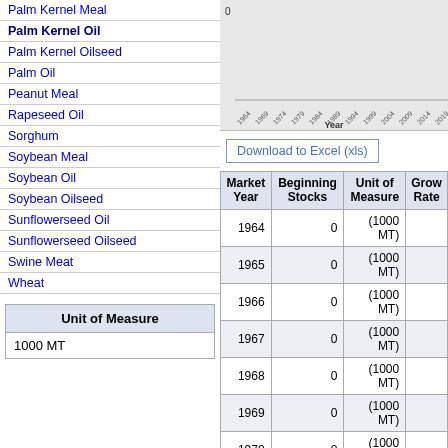Palm Kernel Meal
Palm Kernel Oil
Palm Kernel Oilseed
Palm Oil
Peanut Meal
Rapeseed Oil
Sorghum
Soybean Meal
Soybean Oil
Soybean Oilseed
Sunflowerseed Oil
Sunflowerseed Oilseed
Swine Meat
Wheat
| Unit of Measure |
| --- |
| 1000 MT |
[Figure (bar-chart): Chart showing data over years 1964-2019 with Year on x-axis]
Download to Excel (xls)
| Market Year | Beginning Stocks | Unit of Measure | Grow Rate |
| --- | --- | --- | --- |
| 1964 | 0 | (1000 MT) |  |
| 1965 | 0 | (1000 MT) |  |
| 1966 | 0 | (1000 MT) |  |
| 1967 | 0 | (1000 MT) |  |
| 1968 | 0 | (1000 MT) |  |
| 1969 | 0 | (1000 MT) |  |
| 1970 | 0 | (1000 MT) |  |
| 1971 | 0 | (1000 MT) |  |